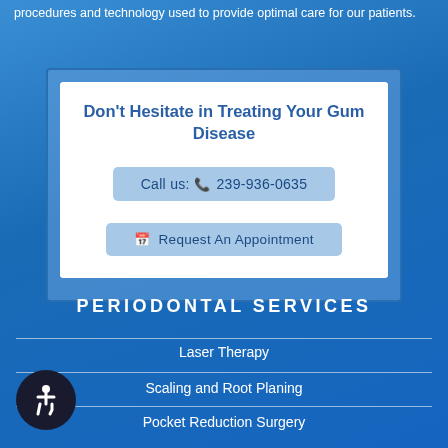procedures and technology used to provide optimal care for our patients.
Don't Hesitate in Treating Your Gum Disease
Call us: 239-936-0635
Request An Appointment
PERIODONTAL SERVICES
Laser Therapy
Scaling and Root Planing
Pocket Reduction Surgery